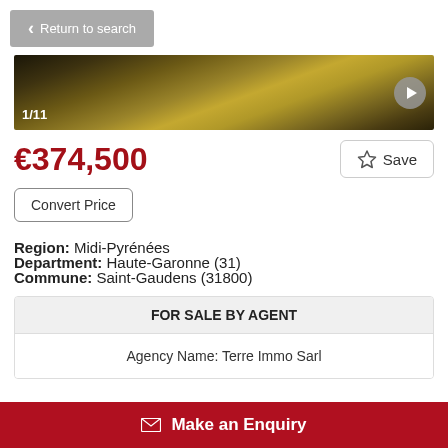Return to search
[Figure (photo): Property photo strip showing dry grassland/field, labeled 1/11 with a play button on the right]
€374,500
Save
Convert Price
Region: Midi-Pyrénées
Department: Haute-Garonne (31)
Commune: Saint-Gaudens (31800)
FOR SALE BY AGENT
Agency Name: Terre Immo Sarl
Make an Enquiry